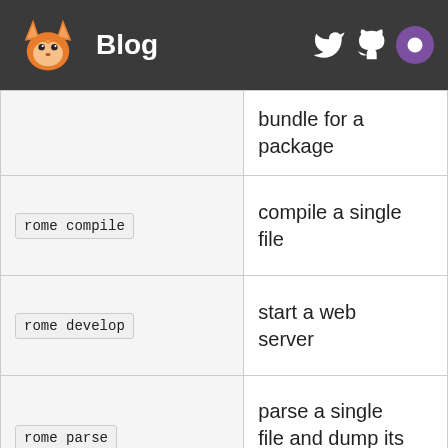Blog
| Command | Description |
| --- | --- |
| (cut off top) | bundle for a package |
| rome compile | compile a single file |
| rome develop | start a web server |
| rome parse | parse a single file and dump its ast |
| rome resolve | resolve a file |
| rome analyzeDependencies | analyze and dump the dependencies of (cut off) |